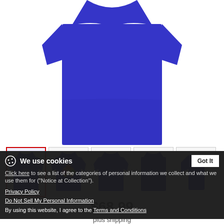[Figure (photo): Blue t-shirt product main image, close-up of upper portion showing royal blue fabric]
[Figure (photo): Row of 5 product thumbnail images: front view (selected, red border), back view with colorful design, plain front, side/back, side view. All royal blue t-shirt.]
$68.99
plus shipping
Add to cart
We use cookies
Got It
Click here to see a list of the categories of personal information we collect and what we use them for ("Notice at Collection").
Privacy Policy
Do Not Sell My Personal Information
By using this website, I agree to the Terms and Conditions
royal blue